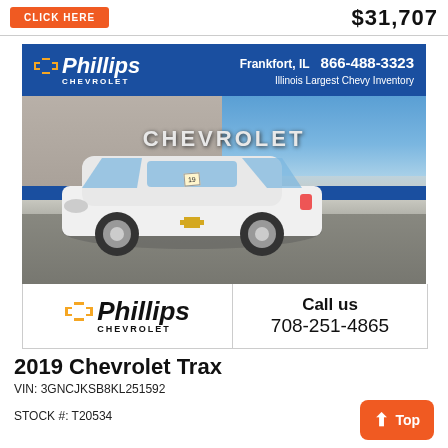[Figure (other): Orange CLICK HERE button and price $31,707 at top of page]
[Figure (photo): Phillips Chevrolet dealership advertisement with photo of white 2019 Chevrolet Trax in front of dealership building. Header shows Phillips Chevrolet logo, Frankfort IL, phone 866-488-3323, Illinois Largest Chevy Inventory. Bottom row has Phillips Chevrolet logo and Call us 708-251-4865.]
2019 Chevrolet Trax
VIN: 3GNCJKSB8KL251592
STOCK #: T20534